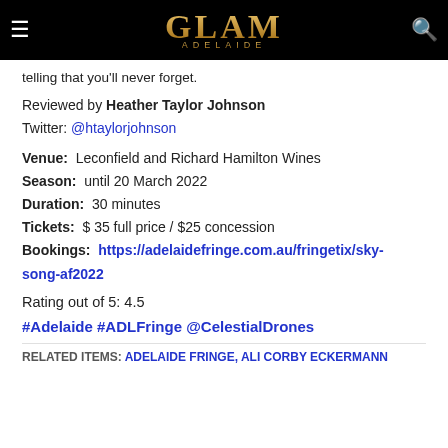GLAM ADELAIDE
telling that you'll never forget.
Reviewed by Heather Taylor Johnson
Twitter: @htaylorjohnson
Venue: Leconfield and Richard Hamilton Wines
Season: until 20 March 2022
Duration: 30 minutes
Tickets: $35 full price / $25 concession
Bookings: https://adelaidefringe.com.au/fringetix/sky-song-af2022
Rating out of 5: 4.5
#Adelaide #ADLFringe @CelestialDrones
RELATED ITEMS: ADELAIDE FRINGE, ALI CORBY ECKERMANN